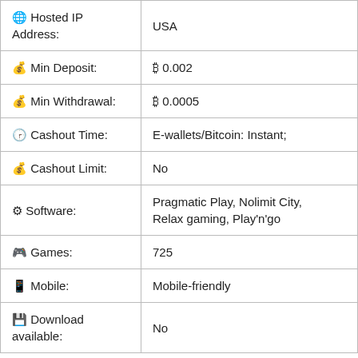| Feature | Value |
| --- | --- |
| 🌐 Hosted IP Address: | USA |
| 💰 Min Deposit: | ₿ 0.002 |
| 💰 Min Withdrawal: | ₿ 0.0005 |
| 🕐 Cashout Time: | E-wallets/Bitcoin: Instant; |
| 💰 Cashout Limit: | No |
| ⚙ Software: | Pragmatic Play, Nolimit City, Relax gaming, Play'n'go |
| 🎮 Games: | 725 |
| 📱 Mobile: | Mobile-friendly |
| 💾 Download available: | No |